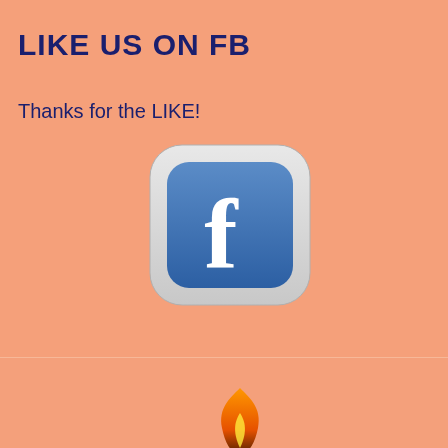LIKE US ON FB
Thanks for the LIKE!
[Figure (logo): Facebook app icon with white rounded square background and blue 'f' logo]
[Figure (illustration): Flame/fire illustration at bottom of page]